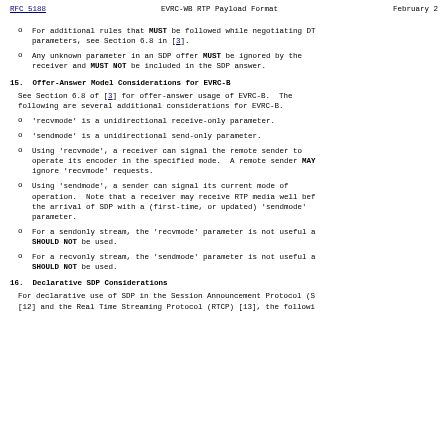RFC 5188    EVRC-WB RTP Payload Format    February 2
For additional rules that MUST be followed while negotiating DT parameters, see Section 6.8 in [3].
Any unknown parameter in an SDP offer MUST be ignored by the receiver and MUST NOT be included in the SDP answer.
15.  Offer-Answer Model Considerations for EVRC-B
See Section 6.8 of [3] for offer-answer usage of EVRC-B.  The following are several additional considerations for EVRC-B.
'recvmode' is a unidirectional receive-only parameter.
'sendmode' is a unidirectional send-only parameter.
Using 'recvmode', a receiver can signal the remote sender to operate its encoder in the specified mode.  A remote sender MAY ignore 'recvmode' requests.
Using 'sendmode', a sender can signal its current mode of operation.  Note that a receiver may receive RTP media well bef the arrival of SDP with a (first-time, or updated) 'sendmode' parameter.
For a sendonly stream, the 'recvmode' parameter is not useful a SHOULD NOT be used.
For a recvonly stream, the 'sendmode' parameter is not useful a SHOULD NOT be used.
16.  Declarative SDP Considerations
For declarative use of SDP in the Session Announcement Protocol (S [12] and the Real Time Streaming Protocol (RTCP) [13], the followi